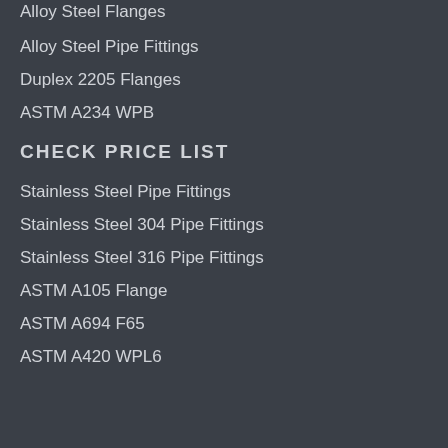Alloy Steel Flanges
Alloy Steel Pipe Fittings
Duplex 2205 Flanges
ASTM A234 WPB
CHECK PRICE LIST
Stainless Steel Pipe Fittings
Stainless Steel 304 Pipe Fittings
Stainless Steel 316 Pipe Fittings
ASTM A105 Flange
ASTM A694 F65
ASTM A420 WPL6